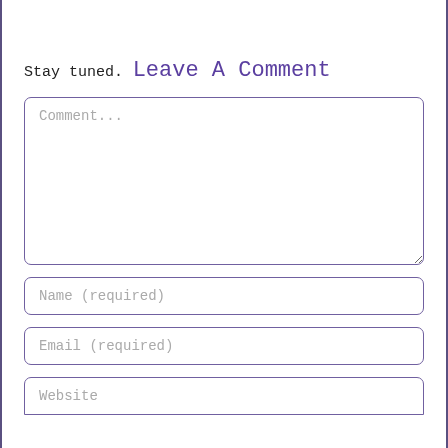Stay tuned.
Leave A Comment
Comment...
Name (required)
Email (required)
Website